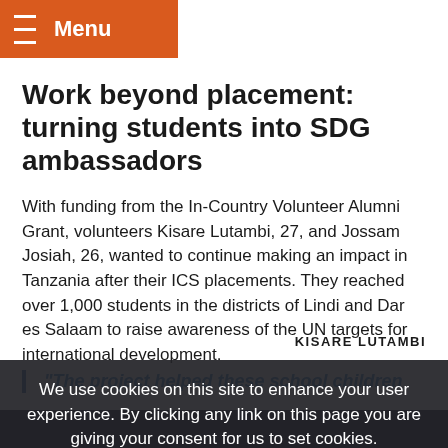Menu
Work beyond placement: turning students into SDG ambassadors
With funding from the In-Country Volunteer Alumni Grant, volunteers Kisare Lutambi, 27, and Jossam Josiah, 26, wanted to continue making an impact in Tanzania after their ICS placements. They reached over 1,000 students in the districts of Lindi and Dar es Salaam to raise awareness of the UN targets for international development.
"The project helped these school children
We use cookies on this site to enhance your user experience. By clicking any link on this page you are giving your consent for us to set cookies.
I agree
No, give me more info
KISARE LUTAMBI